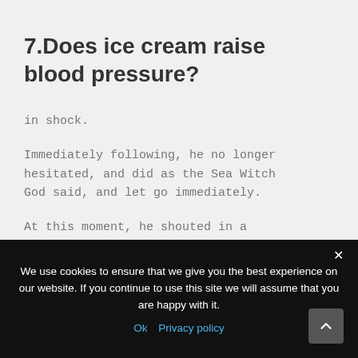7.Does ice cream raise blood pressure?
in shock.
Immediately following, he no longer hesitated, and did as the Sea Witch God said, and let go immediately.
At this moment, he shouted in a deep voice, and shouted out from Xiao Tianyi is mouth.
Immediately, Shi Feng is thoughts moved, and the power of death,
We use cookies to ensure that we give you the best experience on our website. If you continue to use this site we will assume that you are happy with it. Ok  Privacy policy